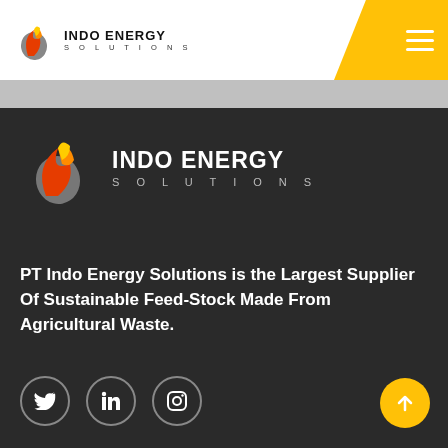[Figure (logo): Indo Energy Solutions logo in the page header — flame/leaf icon with INDO ENERGY SOLUTIONS text]
[Figure (logo): Indo Energy Solutions large logo on dark background — flame/leaf icon with INDO ENERGY SOLUTIONS text]
PT Indo Energy Solutions is the Largest Supplier Of Sustainable Feed-Stock Made From Agricultural Waste.
[Figure (illustration): Social media icons: Twitter (bird), LinkedIn (in), Instagram (camera) in circular outlines on dark background, plus yellow scroll-to-top arrow button]